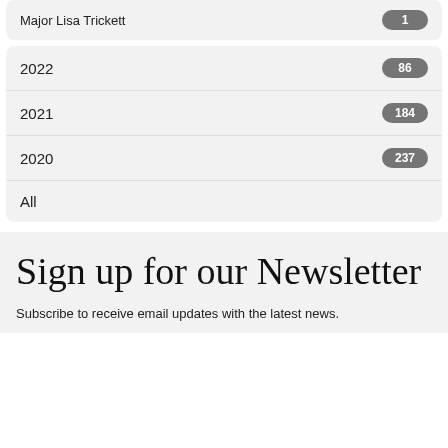Major Lisa Trickett 1
2022 86
2021 184
2020 237
All
Sign up for our Newsletter
Subscribe to receive email updates with the latest news.